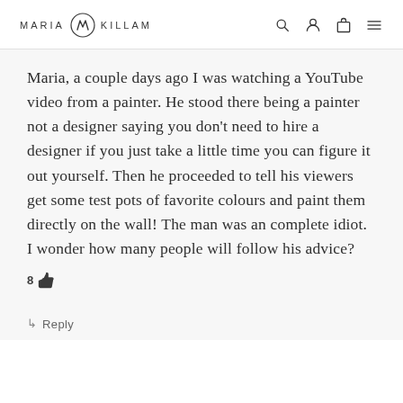MARIA KILLAM
Maria, a couple days ago I was watching a YouTube video from a painter. He stood there being a painter not a designer saying you don't need to hire a designer if you just take a little time you can figure it out yourself. Then he proceeded to tell his viewers get some test pots of favorite colours and paint them directly on the wall! The man was an complete idiot. I wonder how many people will follow his advice?
8 [thumbs up]
↳ Reply